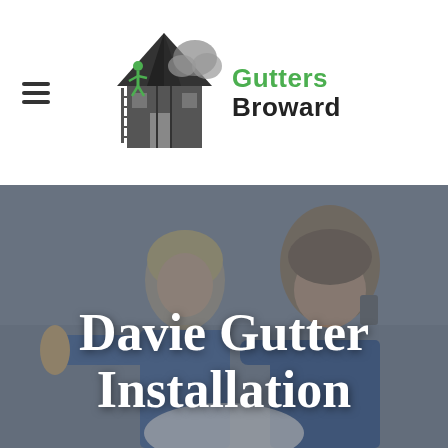[Figure (logo): Gutters Broward logo: house with ladder and worker silhouette in green, with company name 'Gutters Broward' in green and black text]
[Figure (photo): Hero background photo of two people (a woman with blonde hair and a man) looking at something, dark overlay applied]
Davie Gutter Installation